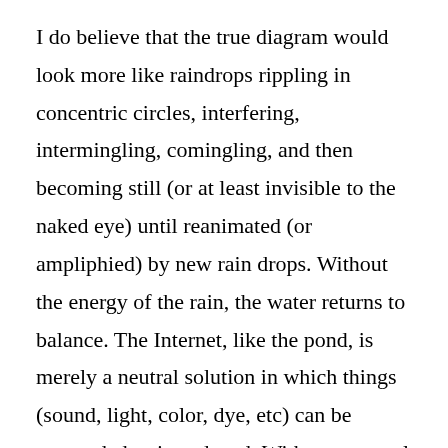I do believe that the true diagram would look more like raindrops rippling in concentric circles, interfering, intermingling, comingling, and then becoming still (or at least invisible to the naked eye) until reanimated (or ampliphied) by new rain drops. Without the energy of the rain, the water returns to balance. The Internet, like the pond, is merely a neutral solution in which things (sound, light, color, dye, etc) can be suspended or introduced. Without external energy, entropy takes over and then, to return to my analogy, the pond is again a placid mirror, glassy and neutral.